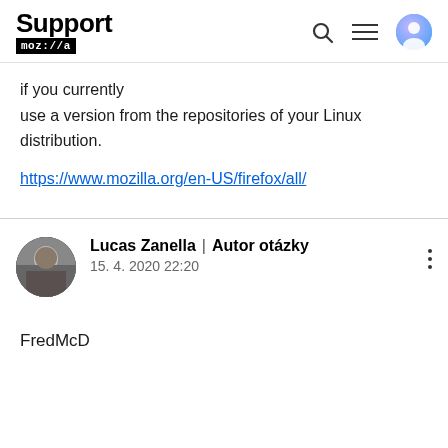Support mozilla
if you currently
use a version from the repositories of your Linux distribution.
https://www.mozilla.org/en-US/firefox/all/
Lucas Zanella | Autor otázky
15. 4. 2020 22:20
FredMcD